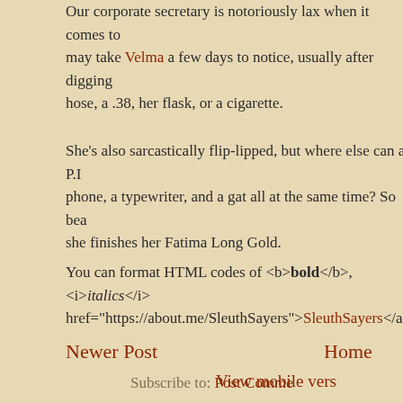Our corporate secretary is notoriously lax when it comes to... may take Velma a few days to notice, usually after digging... hose, a .38, her flask, or a cigarette.
She's also sarcastically flip-lipped, but where else can a P.I... phone, a typewriter, and a gat all at the same time? So bea... she finishes her Fatima Long Gold.
You can format HTML codes of <b>bold</b>, <i>italics</i>... href="https://about.me/SleuthSayers">SleuthSayers</a>
Newer Post
Home
View mobile vers...
Subscribe to: Post Comme...